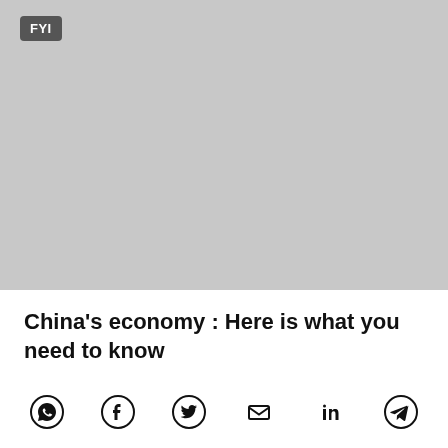[Figure (photo): Large grey placeholder image area with an FYI badge label in the upper-left corner]
China's economy : Here is what you need to know
[Figure (other): Social share icons row: WhatsApp, Facebook, Twitter, Email, LinkedIn, Telegram]